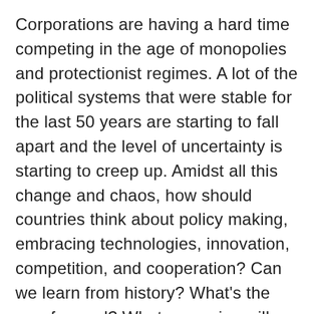Corporations are having a hard time competing in the age of monopolies and protectionist regimes. A lot of the political systems that were stable for the last 50 years are starting to fall apart and the level of uncertainty is starting to creep up. Amidst all this change and chaos, how should countries think about policy making, embracing technologies, innovation, competition, and cooperation? Can we learn from history? What’s the way forward? What scenarios will play out? Are we going to see Slowbalization or Splinternet or something entirely different? Is China’s ascendancy overstated? Each scenario presents its own set of challenges and strategic responses. We are clearly at an unprecedented time in the history